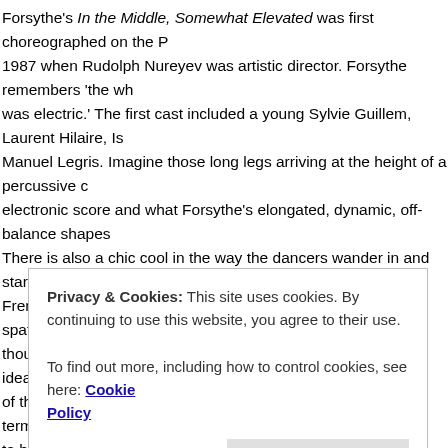Forsythe's In the Middle, Somewhat Elevated was first choreographed on the Paris Opera Ballet in 1987 when Rudolph Nureyev was artistic director. Forsythe remembers 'the whole atmosphere was electric.' The first cast included a young Sylvie Guillem, Laurent Hilaire, Isabelle Guerin and Manuel Legris. Imagine those long legs arriving at the height of a percussive climax in Thom Willems' electronic score and what Forsythe's elongated, dynamic, off-balance shapes must have looked like. There is also a chic cool in the way the dancers wander in and start their variations, something the French do so well. It is still a thrilling dance to watch with its spatial dynamics and patterning, although Wednesday's cast is less tall, less elongated than its ideal execution demands and some of the steps don't quite match the dynamics of the score. In terms of coolness, Karst seems to have the measure of the work but the same can't be said about James Streeter and Anjuli Hudson who mistakes open-mouthed, brazen posing for cool assurance. It's that bodyh
Privacy & Cookies: This site uses cookies. By continuing to use this website, you agree to their use.
To find out more, including how to control cookies, see here: Cookie Policy
Close and accept